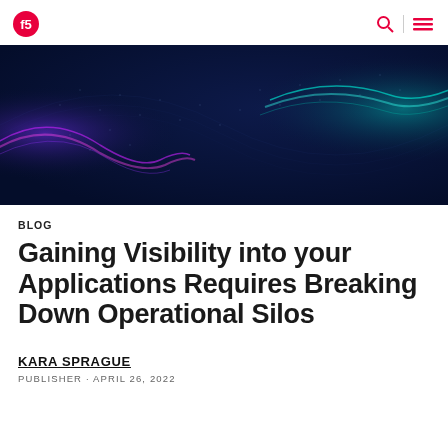[Figure (illustration): Abstract digital wave visualization on dark navy blue background, with flowing particle/dot wave lines in purple/pink on the left and teal/cyan on the right, creating a wave or ribbon effect across the image.]
BLOG
Gaining Visibility into your Applications Requires Breaking Down Operational Silos
KARA SPRAGUE
PUBLISHER · APRIL 26, 2022